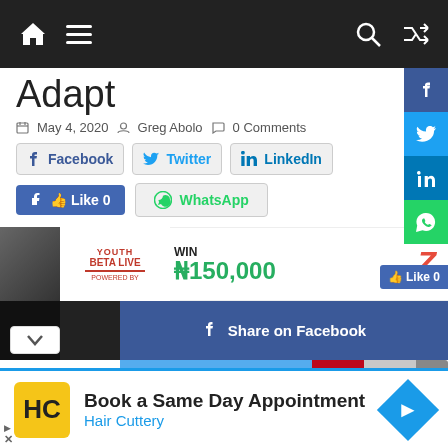Navigation bar with home, menu, search, and shuffle icons
Adapt
May 4, 2020  Greg Abolo  0 Comments
[Figure (screenshot): Social share buttons: Facebook, Twitter, LinkedIn, Like 0, WhatsApp]
[Figure (screenshot): Advertisement banner: WIN ₦150,000 with beta live logo and Z logo; Share on Facebook button; Share on Twitter, Pinterest, share, and more buttons]
[Figure (screenshot): Advertisement: Book a Same Day Appointment - Hair Cuttery, with HC logo and blue arrow diamond icon]
[Figure (screenshot): Floating right sidebar with Facebook, Twitter, LinkedIn social buttons and Like 0 overlay]